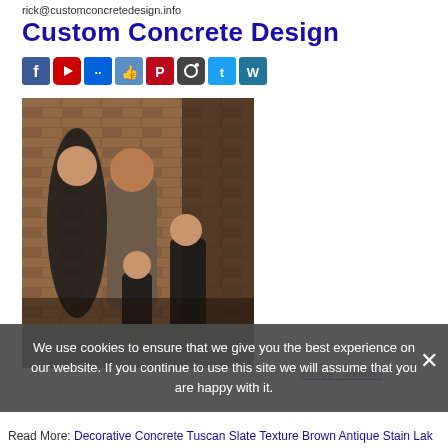rick@customconcretedesign.info
Custom Concrete Design
[Figure (other): Row of social media icon buttons: Facebook, YouTube, Flickr, Like/thumbs-up, Pinterest, Instagram, Twitter, WordPress]
[Figure (photo): Family photo of four people (two adults and two children) posing against a brick wall background]
We use cookies to ensure that we give you the best experience on our website. If you continue to use this site we will assume that you are happy with it.
Read More: Decorative Concrete Tuscan Slate Texture Brown Antique Stain Lak